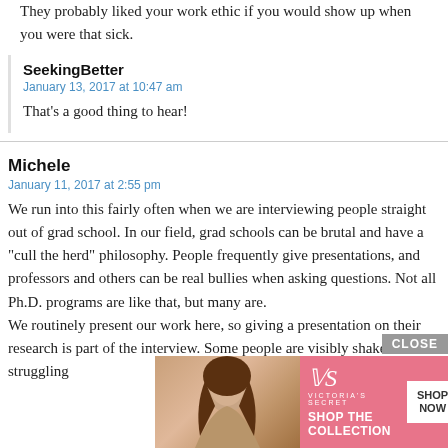They probably liked your work ethic if you would show up when you were that sick.
SeekingBetter
January 13, 2017 at 10:47 am
That's a good thing to hear!
Michele
January 11, 2017 at 2:55 pm
We run into this fairly often when we are interviewing people straight out of grad school. In our field, grad schools can be brutal and have a "cull the herd" philosophy. People frequently give presentations, and professors and others can be real bullies when asking questions. Not all Ph.D. programs are like that, but many are.
We routinely present our work here, so giving a presentation on their research is part of the interview. Some people are visibly shaken and struggling for everyone the
[Figure (infographic): Victoria's Secret advertisement overlay showing a woman with curly hair, VS logo, text 'SHOP THE COLLECTION', a 'SHOP NOW' button, and a 'CLOSE' button.]